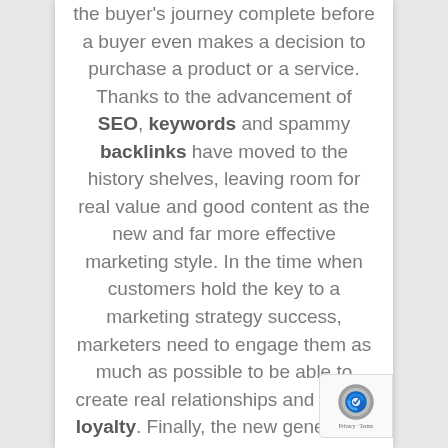the buyer's journey complete before a buyer even makes a decision to purchase a product or a service. Thanks to the advancement of SEO, keywords and spammy backlinks have moved to the history shelves, leaving room for real value and good content as the new and far more effective marketing style. In the time when customers hold the key to a marketing strategy success, marketers need to engage them as much as possible to be able to create real relationships and brand loyalty. Finally, the new generation of digital natives is transforming the way information is viewed and shared. Gen Z-ers are largely driven by